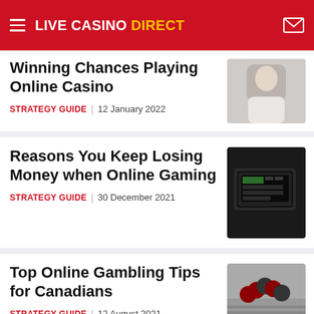LIVE CASINO DIRECT
Winning Chances Playing Online Casino
STRATEGY GUIDE | 12 January 2022
[Figure (photo): Woman in white shirt holding her hand to her head]
Reasons You Keep Losing Money when Online Gaming
STRATEGY GUIDE | 30 December 2021
[Figure (photo): Laptop with casino game interface on dark background]
Top Online Gambling Tips for Canadians
STRATEGY GUIDE | 12 August 2021
[Figure (photo): Casino chips stacked on laptop keyboard]